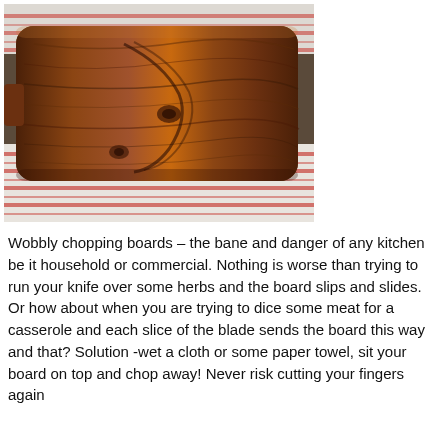[Figure (photo): A wooden chopping board with dark walnut grain and knots, sitting on a striped kitchen towel (white with red stripes) placed on a wooden surface.]
Wobbly chopping boards – the bane and danger of any kitchen be it household or commercial. Nothing is worse than trying to run your knife over some herbs and the board slips and slides. Or how about when you are trying to dice some meat for a casserole and each slice of the blade sends the board this way and that? Solution -wet a cloth or some paper towel, sit your board on top and chop away! Never risk cutting your fingers again